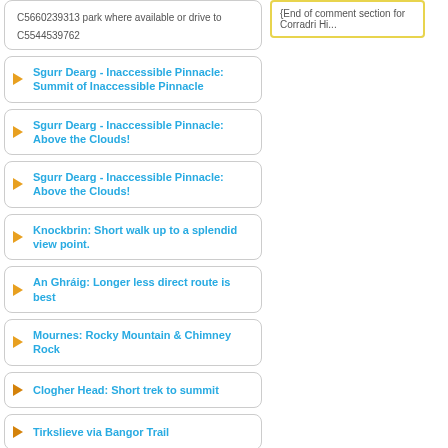C5660239313 park where available or drive to C5544539762
Sgurr Dearg - Inaccessible Pinnacle: Summit of Inaccessible Pinnacle
Sgurr Dearg - Inaccessible Pinnacle: Above the Clouds!
Sgurr Dearg - Inaccessible Pinnacle: Above the Clouds!
Knockbrin: Short walk up to a splendid view point.
An Ghráig: Longer less direct route is best
Mournes: Rocky Mountain & Chimney Rock
Clogher Head: Short trek to summit
Tirkslieve via Bangor Trail
The Three Sisters SW Top: Short trek to summit
The Three Sisters NE Top: Short trek to summit from Binn Meanach
The Three Sisters Middle Top: Short steep climb
{End of comment section for Corradri Hi...